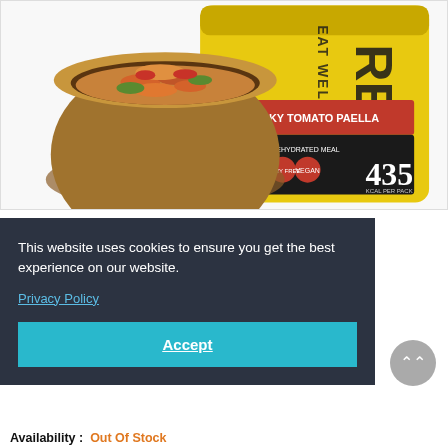[Figure (photo): Product photo of FIREPOT Smoky Tomato Paella dehydrated meal in a yellow pouch, with a wooden bowl of the cooked dish beside it. The package label reads 'SMOKY TOMATO PAELLA – A COMPLETE DEHYDRATED MEAL – 435 KCAL PER PACK'.]
This website uses cookies to ensure you get the best experience on our website.
Privacy Policy
Accept
Availability :  Out Of Stock